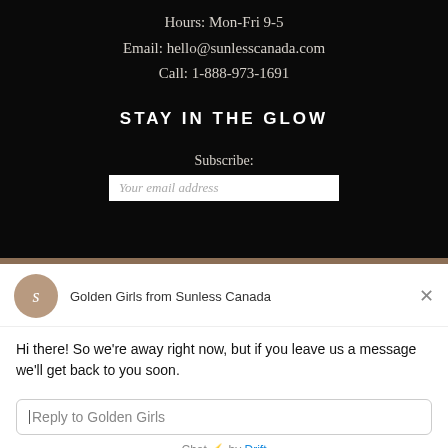Hours: Mon-Fri 9-5
Email: hello@sunlesscanada.com
Call: 1-888-973-1691
STAY IN THE GLOW
Subscribe:
Your email address
Golden Girls from Sunless Canada
Hi there! So we're away right now, but if you leave us a message we'll get back to you soon.
Reply to Golden Girls
Chat ⚡ by Drift